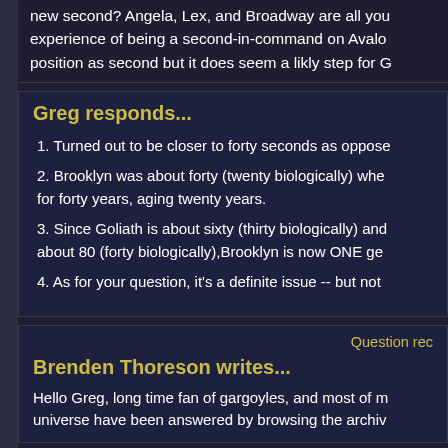new second? Angela, Lex, and Broadway are all you experience of being a second-in-command on Avalon position as second but it does seem a likly step for G
Greg responds...
1. Turned out to be closer to forty seconds as oppose
2. Brooklyn was about forty (twenty biologically) whe for forty years, aging twenty years.
3. Since Goliath is about sixty (thirty biologically) and about 80 (forty biologically),Brooklyn is now ONE ge
4. As for your question, it's a definite issue -- but not
Question rec
Brenden Thoreson writes...
Hello Greg, long time fan of gargoyles, and most of n universe have been answered by browsing the archiv